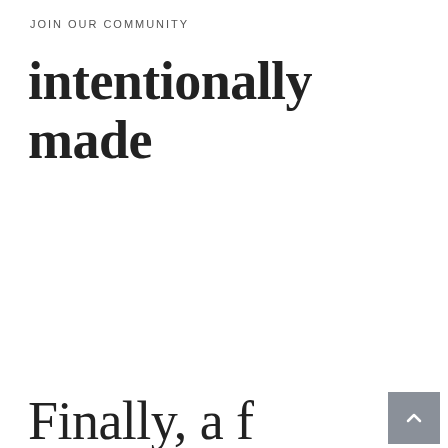JOIN OUR COMMUNITY
intentionally made
Finally, a f...